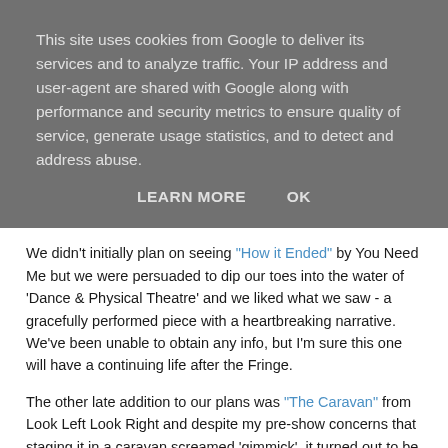This site uses cookies from Google to deliver its services and to analyze traffic. Your IP address and user-agent are shared with Google along with performance and security metrics to ensure quality of service, generate usage statistics, and to detect and address abuse.
LEARN MORE    OK
We didn't initially plan on seeing "How it Ended" by You Need Me but we were persuaded to dip our toes into the water of 'Dance & Physical Theatre' and we liked what we saw - a gracefully performed piece with a heartbreaking narrative. We've been unable to obtain any info, but I'm sure this one will have a continuing life after the Fringe.
The other late addition to our plans was "The Caravan" from Look Left Look Right and despite my pre-show concerns that staging it in a caravan screamed 'gimmick', it turned out to be a magnificent piece of intimate theatre well worthy of its Fringe First award. Again, we have no new on future dates, but they should appear on their website.